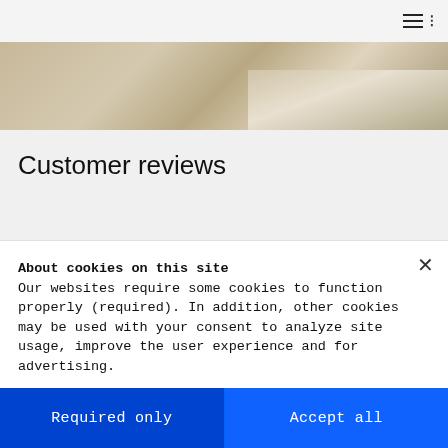≡ (hamburger menu icon)
[Figure (photo): Hero image showing a wooden floor surface with what appears to be a device or object partially visible]
Customer reviews
About cookies on this site
Our websites require some cookies to function properly (required). In addition, other cookies may be used with your consent to analyze site usage, improve the user experience and for advertising.

For more information, please review your Cookie preferences options and IBM's privacy statement.
Required only
Accept all